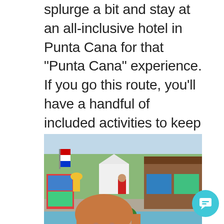splurge a bit and stay at an all-inclusive hotel in Punta Cana for that "Punta Cana" experience. If you go this route, you'll have a handful of included activities to keep you busy, like free painting classes, yoga classes, zumba on the beach, classes at the pool, and other activities. Your hotel is also a prime spot to check up on what other activities are in the area that are easily booked through your hotel.
[Figure (photo): A young girl with reddish-blonde hair smiling at the camera in the foreground. Behind her is a resort area with colorful signage, a white gazebo structure, staff in yellow hats and red shirts, wooden building, trees, and flags.]